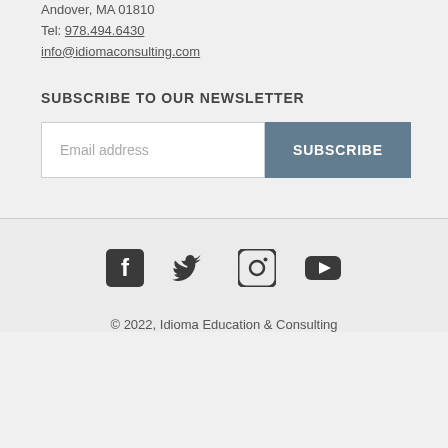Andover, MA 01810
Tel: 978.494.6430
info@idiomaconsulting.com
SUBSCRIBE TO OUR NEWSLETTER
Email address | SUBSCRIBE
[Figure (other): Social media icons: Facebook, Twitter, Instagram, YouTube]
© 2022, Idioma Education & Consulting